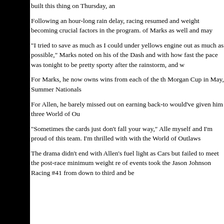built this thing on Thursday, an
Following an hour-long rain delay, racing resumed and weight becoming crucial factors in the program. of Marks as well and may
"I tried to save as much as I could under yellows engine out as much as possible," Marks noted on his of the Dash and with how fast the pace was tonight to be pretty sporty after the rainstorm, and w
For Marks, he now owns wins from each of the th Morgan Cup in May, Summer Nationals
For Allen, he barely missed out on earning back-to would've given him three World of Ou
"Sometimes the cards just don't fall your way," Alle myself and I'm proud of this team. I'm thrilled with with the World of Outlaws
The drama didn't end with Allen's fuel light as Cars but failed to meet the post-race minimum weight re of events took the Jason Johnson Racing #41 from down to third and be